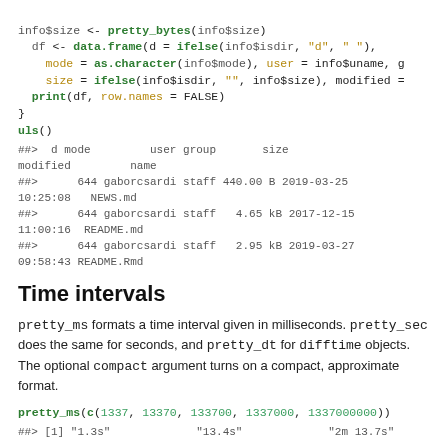info$size <- pretty_bytes(info$size)
  df <- data.frame(d = ifelse(info$isdir, "d", " "),
    mode = as.character(info$mode), user = info$uname, g
    size = ifelse(info$isdir, "", info$size), modified =
  print(df, row.names = FALSE)
}
uls()
##>  d mode         user group       size
modified         name
##>      644 gaborcsardi staff 440.00 B 2019-03-25
10:25:08   NEWS.md
##>      644 gaborcsardi staff   4.65 kB 2017-12-15
11:00:16  README.md
##>      644 gaborcsardi staff   2.95 kB 2019-03-27
09:58:43 README.Rmd
Time intervals
pretty_ms formats a time interval given in milliseconds. pretty_sec does the same for seconds, and pretty_dt for difftime objects. The optional compact argument turns on a compact, approximate format.
pretty_ms(c(1337, 13370, 133700, 1337000, 1337000000))
##> [1] "1.3s"             "13.4s"             "2m 13.7s"